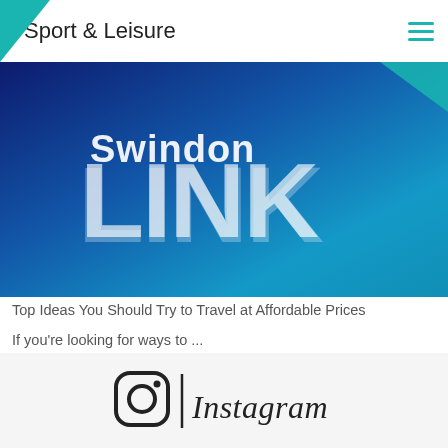Sport & Leisure
[Figure (logo): Swindon Link logo on a blue gradient background with text 'Swindon LINK']
Top Ideas You Should Try to Travel at Affordable Prices
If you're looking for ways to ...
[Figure (logo): Instagram logo with camera icon and Instagram wordmark text]